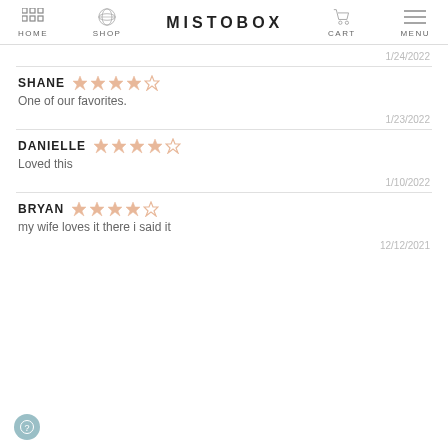HOME  SHOP  MISTOBOX  CART  MENU
1/24/2022
SHANE ★★★★★
One of our favorites.
1/23/2022
DANIELLE ★★★★☆
Loved this
1/10/2022
BRYAN ★★★★★
my wife loves it there i said it
12/12/2021